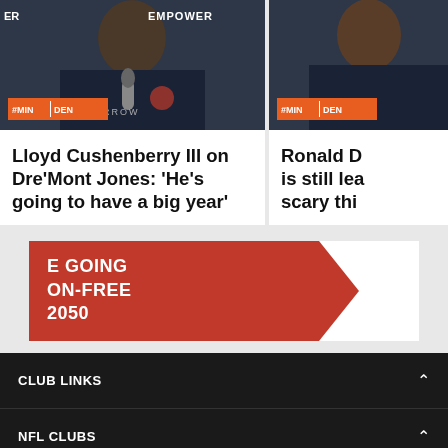[Figure (photo): Press conference photo of Lloyd Cushenberry III with #MIN vs DEN badge overlay and EMPOWER text, microphone visible]
Lloyd Cushenberry III on Dre'Mont Jones: 'He's going to have a big year'
[Figure (photo): Press conference photo of Ronald D with #MIN vs DEN badge overlay, partially cropped]
Ronald D is still lea scary thi
[Figure (infographic): Red arrow banner with text: E GOING ON-FREE 2050]
CLUB LINKS
NFL CLUBS
MORE NFL SITES